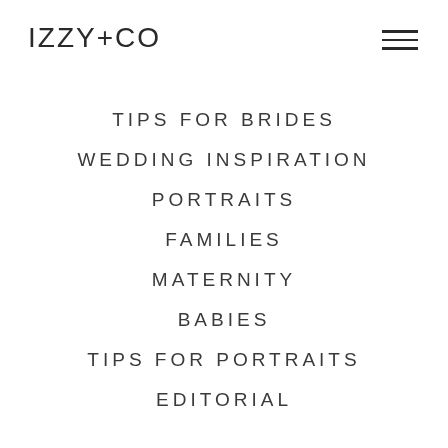[Figure (logo): IZZY+CO logo text in thin sans-serif font]
TIPS FOR BRIDES
WEDDING INSPIRATION
PORTRAITS
FAMILIES
MATERNITY
BABIES
TIPS FOR PORTRAITS
EDITORIAL